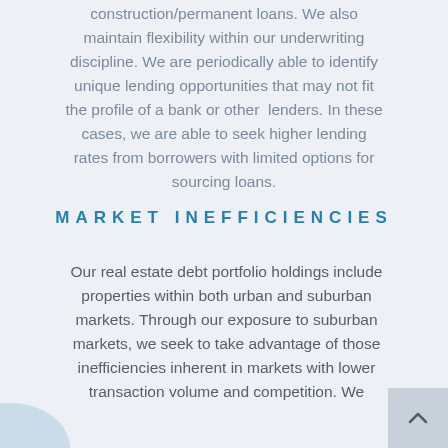construction/permanent loans. We also maintain flexibility within our underwriting discipline. We are periodically able to identify unique lending opportunities that may not fit the profile of a bank or other lenders. In these cases, we are able to seek higher lending rates from borrowers with limited options for sourcing loans.
MARKET INEFFICIENCIES
Our real estate debt portfolio holdings include properties within both urban and suburban markets. Through our exposure to suburban markets, we seek to take advantage of those inefficiencies inherent in markets with lower transaction volume and competition. We